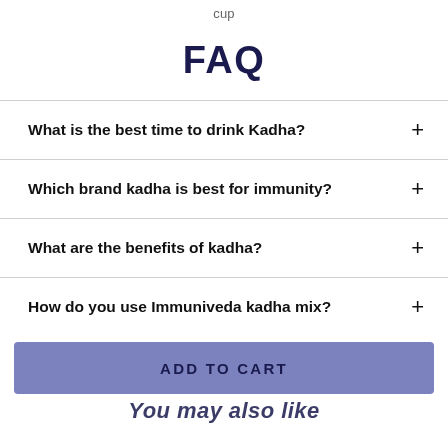cup
FAQ
What is the best time to drink Kadha?
Which brand kadha is best for immunity?
What are the benefits of kadha?
How do you use Immuniveda kadha mix?
ADD TO CART
You may also like